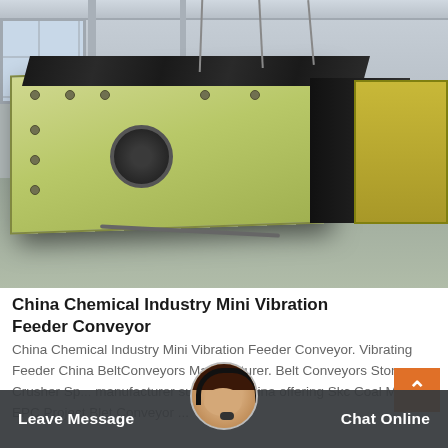[Figure (photo): Industrial warehouse interior showing a large yellow-green vibrating feeder conveyor machine being lifted by crane cables. A second piece of yellow mining equipment is visible in the background on the right.]
China Chemical Industry Mini Vibration Feeder Conveyor
China Chemical Industry Mini Vibration Feeder Conveyor. Vibrating Feeder China BeltConveyors Manufacturer. Belt Conveyors Stone Crusher Sp... manufacturer supplier inChina offering Skc Coal Mini... EPC Project Blet Conveyor ...